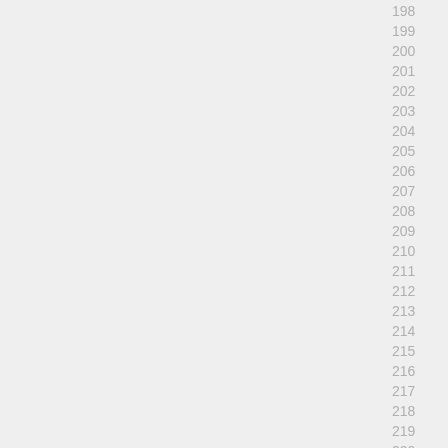198
199
200
201
202
203
204
205
206
207
208
209
210
211
212
213
214
215
216
217
218
219
220